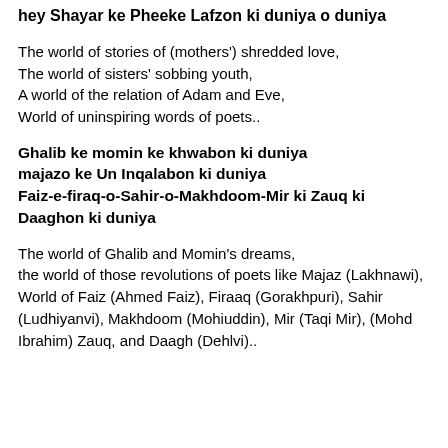hey Shayar ke Pheeke Lafzon ki duniya o duniya
The world of stories of (mothers') shredded love,
The world of sisters' sobbing youth,
A world of the relation of Adam and Eve,
World of uninspiring words of poets..
Ghalib ke momin ke khwabon ki duniya majazo ke Un Inqalabon ki duniya Faiz-e-firaq-o-Sahir-o-Makhdoom-Mir ki Zauq ki Daaghon ki duniya
The world of Ghalib and Momin's dreams,
the world of those revolutions of poets like Majaz (Lakhnawi),
World of Faiz (Ahmed Faiz), Firaaq (Gorakhpuri), Sahir (Ludhiyanvi), Makhdoom (Mohiuddin), Mir (Taqi Mir), (Mohd Ibrahim) Zauq, and Daagh (Dehlvi)..